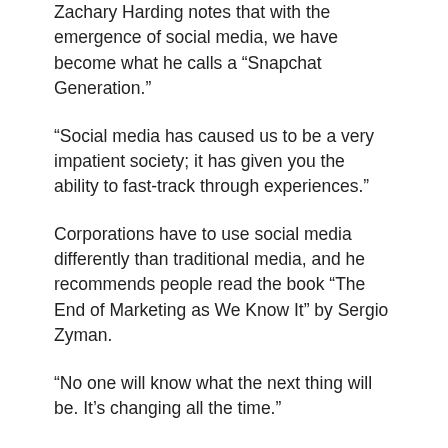Zachary Harding notes that with the emergence of social media, we have become what he calls a “Snapchat Generation.”
“Social media has caused us to be a very impatient society; it has given you the ability to fast-track through experiences.”
Corporations have to use social media differently than traditional media, and he recommends people read the book “The End of Marketing as We Know It” by Sergio Zyman.
“No one will know what the next thing will be. It’s changing all the time.”
To stay motivated, Zachary takes on exciting challenges.